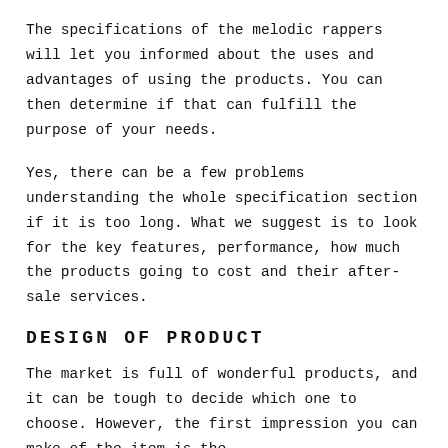The specifications of the melodic rappers will let you informed about the uses and advantages of using the products. You can then determine if that can fulfill the purpose of your needs.
Yes, there can be a few problems understanding the whole specification section if it is too long. What we suggest is to look for the key features, performance, how much the products going to cost and their after-sale services.
DESIGN OF PRODUCT
The market is full of wonderful products, and it can be tough to decide which one to choose. However, the first impression you can make of the item is the